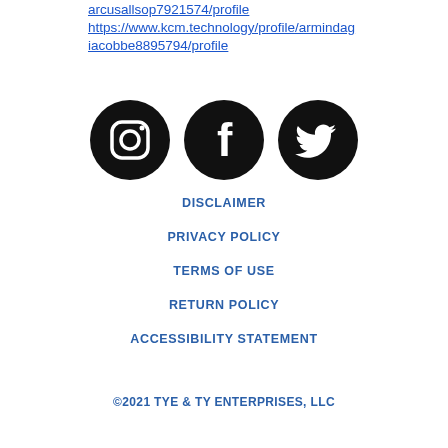arcusallsop7921574/profile https://www.kcm.technology/profile/armindagiacobbe8895794/profile
[Figure (illustration): Three social media icons: Instagram, Facebook, and Twitter, all black circular icons with white symbols.]
DISCLAIMER
PRIVACY POLICY
TERMS OF USE
RETURN POLICY
ACCESSIBILITY STATEMENT
©2021 TYE & TY ENTERPRISES, LLC